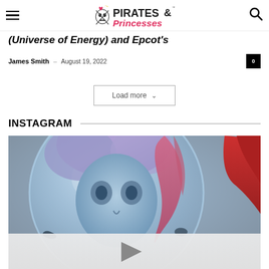Pirates & Princesses — navigation header with hamburger menu, logo, and search icon
(Universe of Energy) and Epcot's
James Smith – August 19, 2022
Load more
INSTAGRAM
[Figure (photo): Instagram video thumbnail showing a cosplay character with blue/purple hair and large transparent bubble visor, with a play button overlay at the bottom]